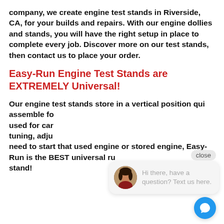company, we create engine test stands in Riverside, CA, for your builds and repairs. With our engine dollies and stands, you will have the right setup in place to complete every job. Discover more on our test stands, then contact us to place your order.
Easy-Run Engine Test Stands are EXTREMELY Universal!
Our engine test stands store in a vertical position qui... assemble fo... used for car... tuning, adju... need to start that used engine or stored engine, Easy-Run is the BEST universal run stand!
[Figure (other): Chat widget overlay with avatar photo of a woman, text 'Hi there, have a question? Text us here.', a close button, and a blue circular chat icon button.]